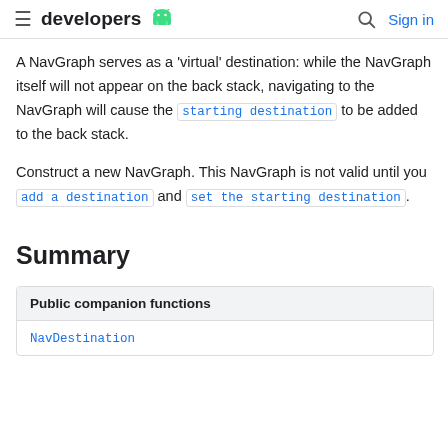developers [android logo] | [search] Sign in
A NavGraph serves as a 'virtual' destination: while the NavGraph itself will not appear on the back stack, navigating to the NavGraph will cause the starting destination to be added to the back stack.
Construct a new NavGraph. This NavGraph is not valid until you add a destination and set the starting destination.
Summary
| Public companion functions |
| --- |
| NavDestination |